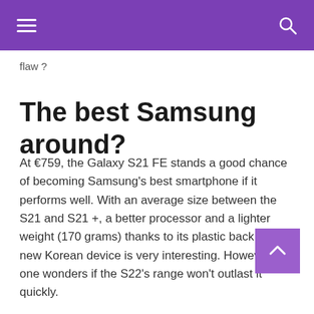flaw ?
The best Samsung around?
At €759, the Galaxy S21 FE stands a good chance of becoming Samsung's best smartphone if it performs well. With an average size between the S21 and S21 +, a better processor and a lighter weight (170 grams) thanks to its plastic back, the new Korean device is very interesting. However, one wonders if the S22's range won't outlast it quickly.